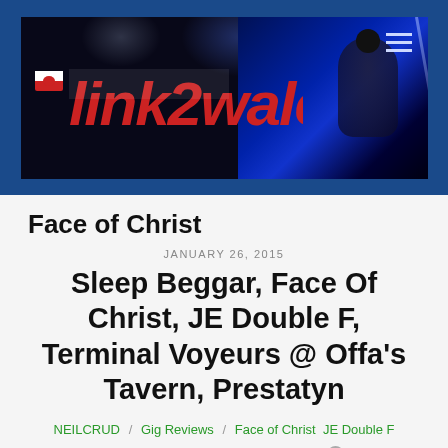[Figure (screenshot): link2wales website header banner with red stylized logo text on dark navy background, with a performer silhouette on the right side and hamburger menu icon in the top right corner]
Face of Christ
JANUARY 26, 2015
Sleep Beggar, Face Of Christ, JE Double F, Terminal Voyeurs @ Offa's Tavern, Prestatyn
NEILCRUD / Gig Reviews / Face of Christ  JE Double F  Sleep Beggar  Terminal Voyeurs / 0